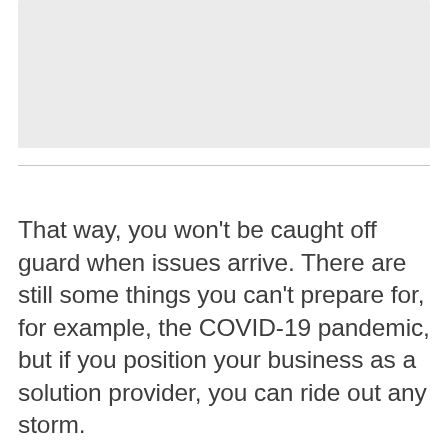[Figure (other): A light gray rectangular image placeholder at the top of the page]
That way, you won't be caught off guard when issues arrive. There are still some things you can't prepare for, for example, the COVID-19 pandemic, but if you position your business as a solution provider, you can ride out any storm.
So what we have done is create several verticals within the real estate space that helps us provide value to our clients. We have also created various products and services that help simplify different aspects of real estate that people interact with regularly